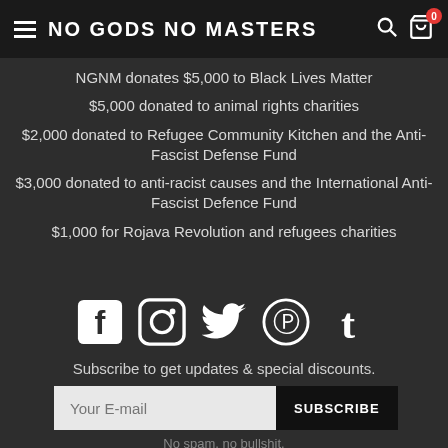NO GODS NO MASTERS
NGNM donates $5,000 to Black Lives Matter
$5,000 donated to animal rights charities
$2,000 donated to Refugee Community Kitchen and the Anti-Fascist Defense Fund
$3,000 donated to anti-racist causes and the International Anti-Fascist Defence Fund
$1,000 for Rojava Revolution and refugees charities
[Figure (infographic): Social media icons: Facebook, Instagram, Twitter, Pinterest, Tumblr]
Subscribe to get updates & special discounts.
No spam, no bullshit.